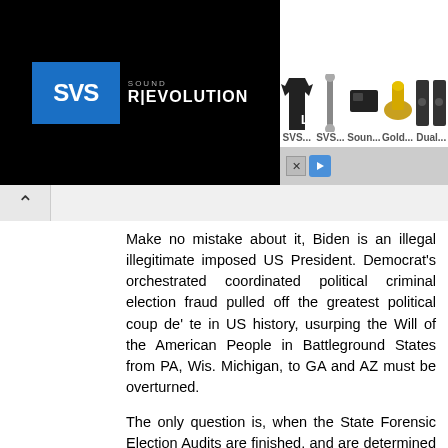[Figure (screenshot): SVS Sound Revolution advertisement banner with logo on left and product images (shirt, cables, audio devices, gold connectors, speakers) on right with labels SVS..., SVS..., Soun..., Gold..., Dual...]
Make no mistake about it, Biden is an illegal illegitimate imposed US President. Democrat's orchestrated coordinated political criminal election fraud pulled off the greatest political coup de' te in US history, usurping the Will of the American People in Battleground States from PA, Wis. Michigan, to GA and AZ must be overturned.

The only question is, when the State Forensic Election Audits are finished, and are determined that Pres Trump actually won their respective State's 3 Nov election, what will happen, do the courts get involved, will the State Legislatures decertify their fraudulent certification of Joe Biden fraudulent election win.

We all know the answer to that - No Democrats control everything from the Media, to the Bureaucracy, to the Courts, to RINOs, even our Churches ..